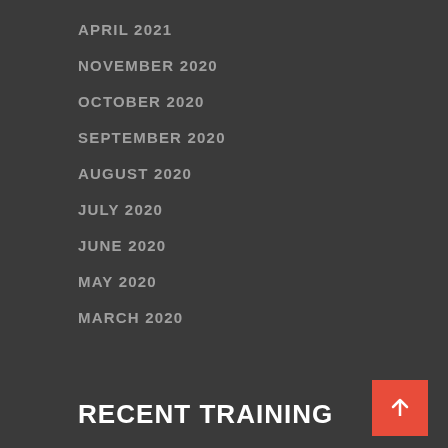APRIL 2021
NOVEMBER 2020
OCTOBER 2020
SEPTEMBER 2020
AUGUST 2020
JULY 2020
JUNE 2020
MAY 2020
MARCH 2020
RECENT TRAINING